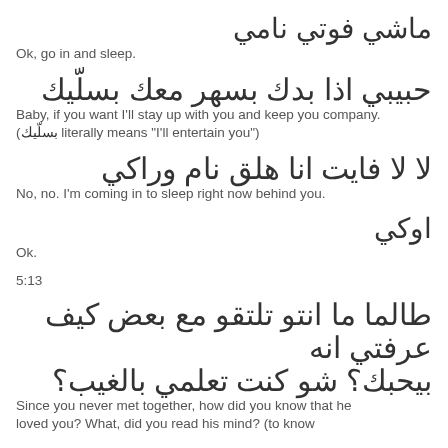ماشي فوتي نامي
Ok, go in and sleep.
حبيبي اذا بدك بسهر معك بسلّيك
Baby, if you want I'll stay up with you and keep you company.
(بسلّيك literally means "I'll entertain you")
لا لا فايت انا هلق نام وراكي
No, no.  I'm coming in to sleep right now behind you.
اوكي
Ok.
5:13
طالما ما انتو تلتقو مع بعض كيف عرفتي انه بيحبك؟ شو كنت تعلمي بالغيب؟
Since you never met together, how did you know that he loved you? What, did you read his mind? (to know